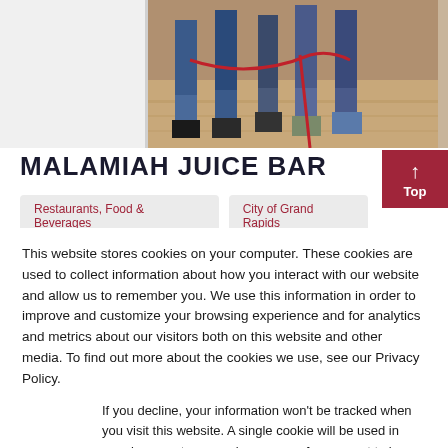[Figure (photo): Group of people standing together, lower half visible showing legs and feet on a wooden floor, with a red ribbon visible.]
MALAMIAH JUICE BAR
Restaurants, Food & Beverages
City of Grand Rapids
This website stores cookies on your computer. These cookies are used to collect information about how you interact with our website and allow us to remember you. We use this information in order to improve and customize your browsing experience and for analytics and metrics about our visitors both on this website and other media. To find out more about the cookies we use, see our Privacy Policy.
If you decline, your information won't be tracked when you visit this website. A single cookie will be used in your browser to remember your preference not to be tracked.
Accept
Decline